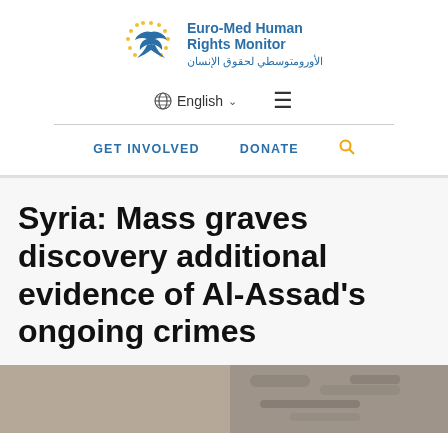[Figure (logo): Euro-Med Human Rights Monitor logo with dove/bird icon and yellow star circle, with English and Arabic text]
English  ☰
GET INVOLVED   DONATE 🔍
Syria: Mass graves discovery additional evidence of Al-Assad's ongoing crimes
[Figure (photo): Photo labeled JAN. 2016 showing mass graves evidence]